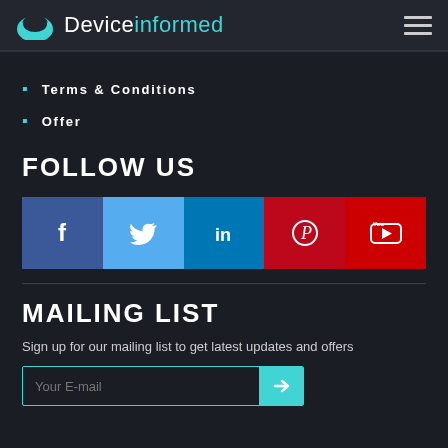Deviceinformed
Terms & Conditions
Offer
FOLLOW US
[Figure (infographic): Social media icon buttons: Facebook (blue), Twitter (light blue), LinkedIn (dark blue), Pinterest (red), YouTube (red)]
MAILING LIST
Sign up for our mailing list to get latest updates and offers